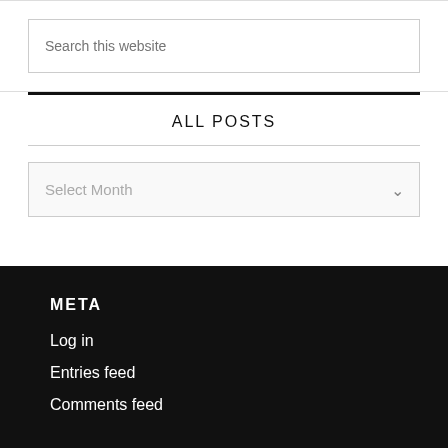Search this website
ALL POSTS
Select Month
META
Log in
Entries feed
Comments feed